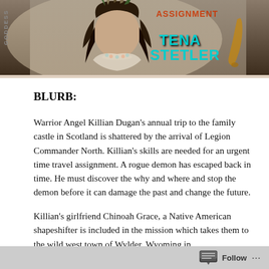[Figure (illustration): Book cover image showing a person with dark hair and Native American-style headdress/accessories on a light background, with text reading 'GODDESS' vertically on the left side and 'TENA STETLER' in teal/turquoise lettering on the right side.]
BLURB:
Warrior Angel Killian Dugan's annual trip to the family castle in Scotland is shattered by the arrival of Legion Commander North. Killian's skills are needed for an urgent time travel assignment. A rogue demon has escaped back in time. He must discover the why and where and stop the demon before it can damage the past and change the future.
Killian's girlfriend Chinoah Grace, a Native American shapeshifter is included in the mission which takes them to the wild west town of Wylder, Wyoming in
Follow